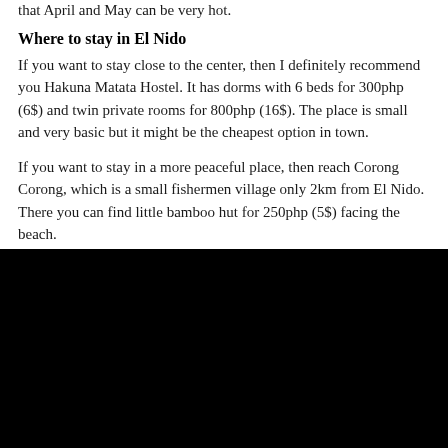that April and May can be very hot.
Where to stay in El Nido
If you want to stay close to the center, then I definitely recommend you Hakuna Matata Hostel. It has dorms with 6 beds for 300php (6$) and twin private rooms for 800php (16$). The place is small and very basic but it might be the cheapest option in town.
If you want to stay in a more peaceful place, then reach Corong Corong, which is a small fishermen village only 2km from El Nido. There you can find little bamboo hut for 250php (5$) facing the beach.
[Figure (photo): A large black photograph or image, possibly of a dark nighttime or interior scene, taking up the bottom portion of the page.]